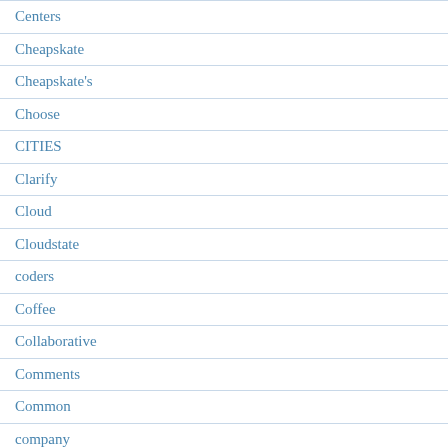Centers
Cheapskate
Cheapskate's
Choose
CITIES
Clarify
Cloud
Cloudstate
coders
Coffee
Collaborative
Comments
Common
company
Comparison